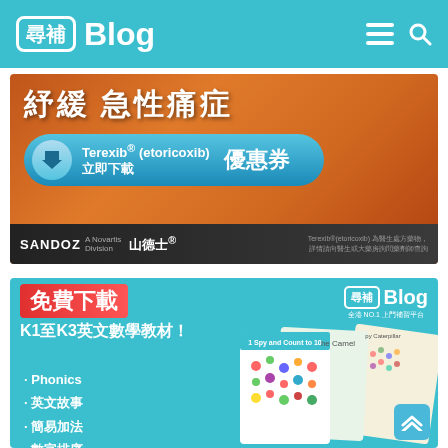尋補 Blog
[Figure (photo): Sandoz pharmaceutical advertisement for Terexib (etoricoxib) in Traditional Chinese, showing orange gradient background with blue pill/download button and coupon offer. Text: 紓緩急性痛症 Terexib® (etoricoxib) 立即下載優惠券 SANDOZ 山德士®]
[Figure (photo): 尋補 Blog educational materials advertisement. Free download K1-K3 English and Math teaching materials. Features: Phonics, 英文故事, 簡易加法, 數字排序. Shows worksheets with 'I Spy and Count to 10', 'The Camel', 'Hungry Caterpillar' themes.]